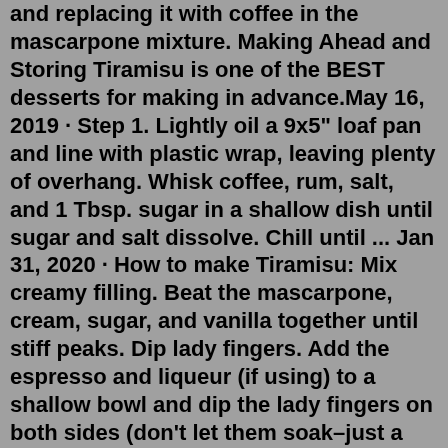and replacing it with coffee in the mascarpone mixture. Making Ahead and Storing Tiramisu is one of the BEST desserts for making in advance.May 16, 2019 · Step 1. Lightly oil a 9x5" loaf pan and line with plastic wrap, leaving plenty of overhang. Whisk coffee, rum, salt, and 1 Tbsp. sugar in a shallow dish until sugar and salt dissolve. Chill until ... Jan 31, 2020 · How to make Tiramisu: Mix creamy filling. Beat the mascarpone, cream, sugar, and vanilla together until stiff peaks. Dip lady fingers. Add the espresso and liqueur (if using) to a shallow bowl and dip the lady fingers on both sides (don't let them soak–just a quick dip!) Layer mascarpone. Mar 25, 2021 · Ingredients in Tiramisu: Ladyfingers, egg yolks, optional: pasteurized egg whites, mascarpone, granulated sugar, Marsala (or dark rum), heavy whipping cream, espresso or very strong coffee and cocoa powder. Ingredient notes. Ladyfingers: The ladyfingers you need for Tiramisu are dry, hard biscuits (called Savoiardi in Italian). You should be ... Some good subs for rum (specifically in tiramisu) are